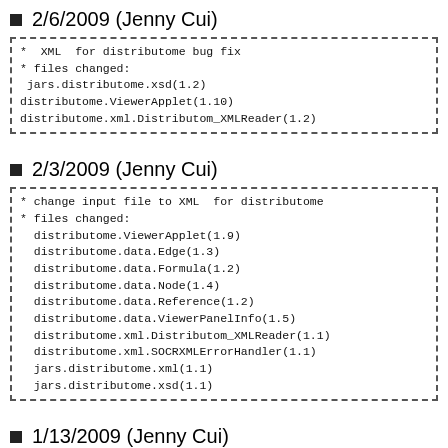2/6/2009 (Jenny Cui)
*  XML  for distributome bug fix
* files changed:
 jars.distributome.xsd(1.2)
distributome.ViewerApplet(1.10)
distributome.xml.Distributom_XMLReader(1.2)
2/3/2009 (Jenny Cui)
* change input file to XML  for distributome
* files changed:
  distributome.ViewerApplet(1.9)
  distributome.data.Edge(1.3)
  distributome.data.Formula(1.2)
  distributome.data.Node(1.4)
  distributome.data.Reference(1.2)
  distributome.data.ViewerPanelInfo(1.5)
  distributome.xml.Distributom_XMLReader(1.1)
  distributome.xml.SOCRXMLErrorHandler(1.1)
  jars.distributome.xml(1.1)
  jars.distributome.xsd(1.1)
1/13/2009 (Jenny Cui)
* added ctrl+/- as zoom in/out  for distributome
* files changed: